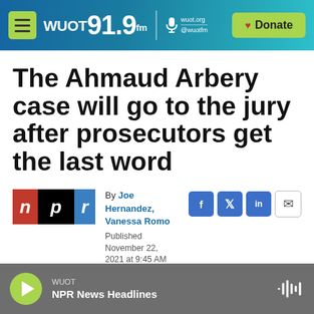WUOT 91.9 FM | wuot.org @wuotfm | Donate
The Ahmaud Arbery case will go to the jury after prosecutors get the last word
[Figure (logo): NPR logo - red n, white p, blue r on black background]
By Joe Hernandez, Vanessa Romo
Published November 22, 2021 at 9:45 AM EST
WUOT NPR News Headlines